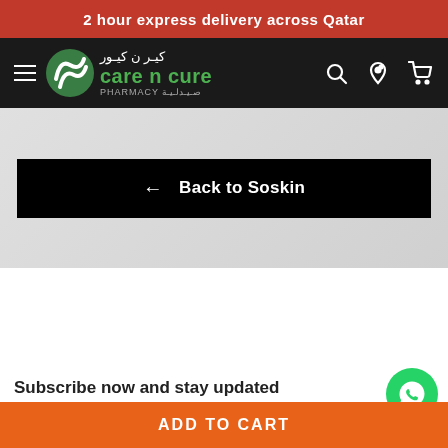2 hour express delivery across Qatar
[Figure (logo): Care n Cure Pharmacy logo with green leaf icon, Arabic and English text on black navbar with hamburger menu and cart/search/location icons]
← Back to Soskin
Subscribe now and stay updated
Enter your email
ADD TO CART